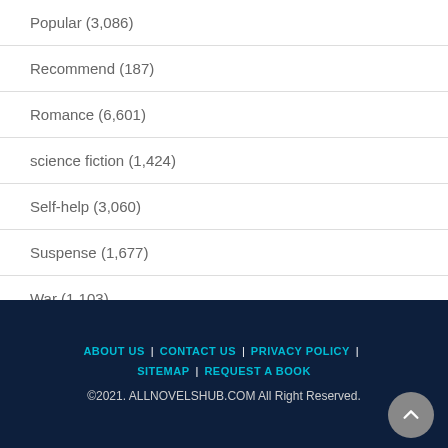Popular (3,086)
Recommend (187)
Romance (6,601)
science fiction (1,424)
Self-help (3,060)
Suspense (1,677)
War (1,103)
ABOUT US | CONTACT US | PRIVACY POLICY | SITEMAP | REQUEST A BOOK
©2021. ALLNOVELSHUB.COM All Right Reserved.